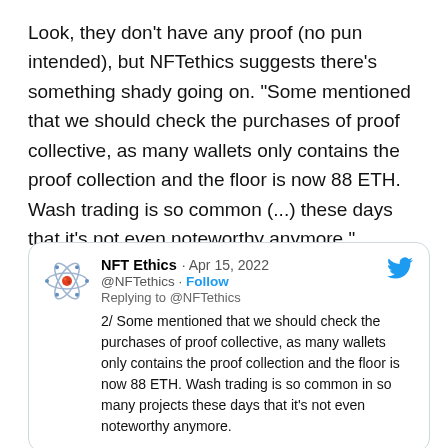Look, they don't have any proof (no pun intended), but NFTethics suggests there's something shady going on. “Some mentioned that we should check the purchases of proof collective, as many wallets only contains the proof collection and the floor is now 88 ETH. Wash trading is so common (...) these days that it’s not even noteworthy anymore.”
[Figure (screenshot): Embedded tweet from NFT Ethics (@NFTethics), dated Apr 15, 2022, replying to @NFTethics. Tweet text: '2/ Some mentioned that we should check the purchases of proof collective, as many wallets only contains the proof collection and the floor is now 88 ETH. Wash trading is so common in so many projects these days that it's not even noteworthy anymore.']